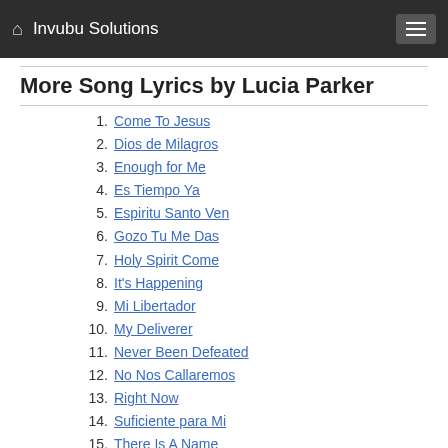Invubu Solutions
More Song Lyrics by Lucia Parker
Come To Jesus
Dios de Milagros
Enough for Me
Es Tiempo Ya
Espiritu Santo Ven
Gozo Tu Me Das
Holy Spirit Come
It's Happening
Mi Libertador
My Deliverer
Never Been Defeated
No Nos Callaremos
Right Now
Suficiente para Mi
There Is A Name